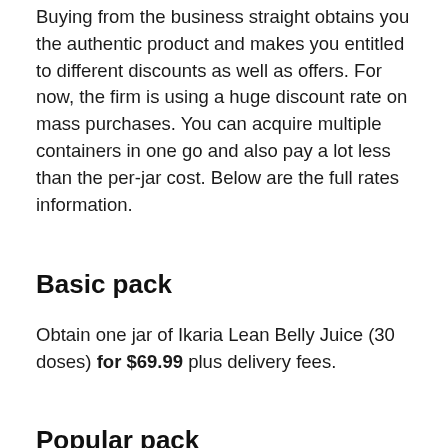Buying from the business straight obtains you the authentic product and makes you entitled to different discounts as well as offers. For now, the firm is using a huge discount rate on mass purchases. You can acquire multiple containers in one go and also pay a lot less than the per-jar cost. Below are the full rates information.
Basic pack
Obtain one jar of Ikaria Lean Belly Juice (30 doses) for $69.99 plus delivery fees.
Popular pack
Obtain three containers of Ikaria Lean Belly Juice (90 doses) for $59.00 with complimentary